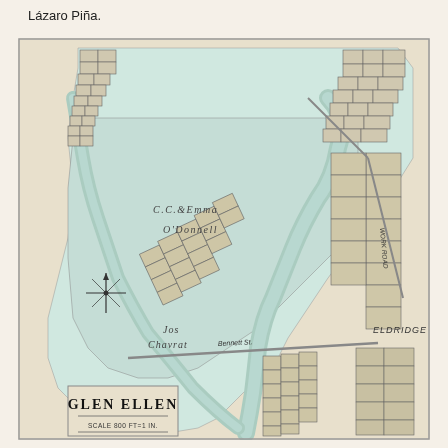Lázaro Piña.
[Figure (map): Historical cadastral map of Glen Ellen, California. Shows land parcels, streets including Bennett St, property owners labeled including C.C. & Emma O'Donnell, Jos. Chavrat, Eldridge. Features a compass rose on the left side. Scale noted as 800 FT = 1 IN. Title reads GLEN ELLEN at bottom left.]